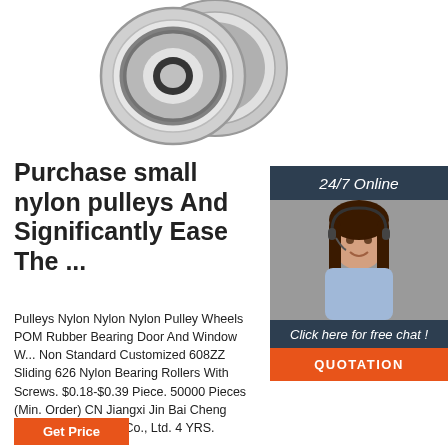[Figure (photo): Product photo of small nylon pulleys / ball bearings, silver/grey metallic, shown from the front]
[Figure (photo): Sidebar with 24/7 Online label, photo of a female customer service representative wearing a headset, Click here for free chat text, and QUOTATION button]
Purchase small nylon pulleys And Significantly Ease The ...
Pulleys Nylon Nylon Nylon Pulley Wheels POM Rubber Bearing Door And Window W... Non Standard Customized 608ZZ Sliding 626 Nylon Bearing Rollers With Screws. $0.18-$0.39 Piece. 50000 Pieces (Min. Order) CN Jiangxi Jin Bai Cheng Hardware Products Co., Ltd. 4 YRS.
[Figure (other): Get Price button in orange]